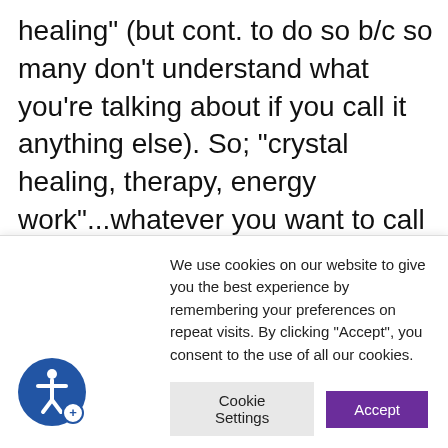healing" (but cont. to do so b/c so many don't understand what you're talking about if you call it anything else). So; "crystal healing, therapy, energy work"...whatever you want to call it, many think to themselves..."Who am I to think I can do this? I'm going to fail. It won't work."
We use cookies on our website to give you the best experience by remembering your preferences on repeat visits. By clicking "Accept", you consent to the use of all our cookies.